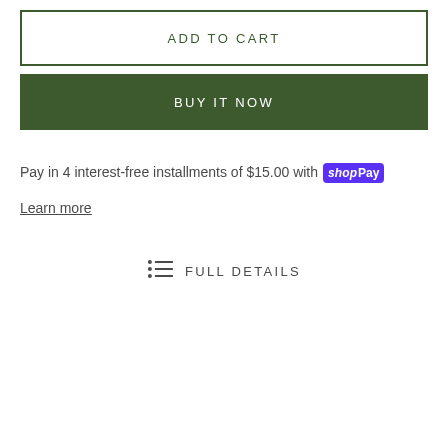ADD TO CART
BUY IT NOW
Pay in 4 interest-free installments of $15.00 with shop Pay
Learn more
FULL DETAILS